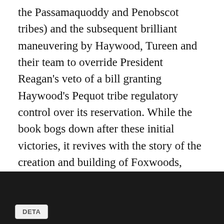the Passamaquoddy and Penobscot tribes) and the subsequent brilliant maneuvering by Haywood, Tureen and their team to override President Reagan's veto of a bill granting Haywood's Pequot tribe regulatory control over its reservation. While the book bogs down after these initial victories, it revives with the story of the creation and building of Foxwoods, which opened on February 14, 1992, after a firestorm of controversy and political bloodletting. Although Benedict gives each of his key characters equal consideration in his engrossing study, it's Haywood who ultimately captures the reader's interest with his astounding evolution from drunken wife batterer to thoughtful, skilled visionary. (May)